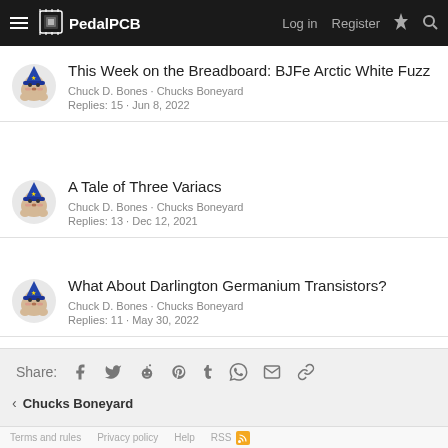PedalPCB — Log in  Register
This Week on the Breadboard: BJFe Arctic White Fuzz
Chuck D. Bones · Chucks Boneyard
Replies: 15 · Jun 8, 2022
A Tale of Three Variacs
Chuck D. Bones · Chucks Boneyard
Replies: 13 · Dec 12, 2021
What About Darlington Germanium Transistors?
Chuck D. Bones · Chucks Boneyard
Replies: 11 · May 30, 2022
Share:
< Chucks Boneyard
Terms and rules  Privacy policy  Help  RSS